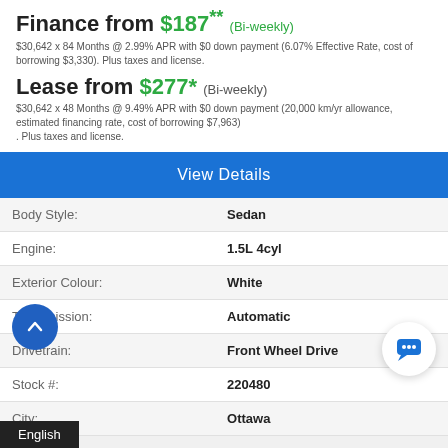Finance from $187** (Bi-weekly)
$30,642 x 84 Months @ 2.99% APR with $0 down payment (6.07% Effective Rate, cost of borrowing $3,330). Plus taxes and license.
Lease from $277* (Bi-weekly)
$30,642 x 48 Months @ 9.49% APR with $0 down payment (20,000 km/yr allowance, estimated financing rate, cost of borrowing $7,963). Plus taxes and license.
View Details
|  |  |
| --- | --- |
| Body Style: | Sedan |
| Engine: | 1.5L 4cyl |
| Exterior Colour: | White |
| Transmission: | Automatic |
| Drivetrain: | Front Wheel Drive |
| Stock #: | 220480 |
| City: | Ottawa |
Surgenor Barrhaven Chevrolet Buick GMC Ltd.   +1-866-692-3554
English